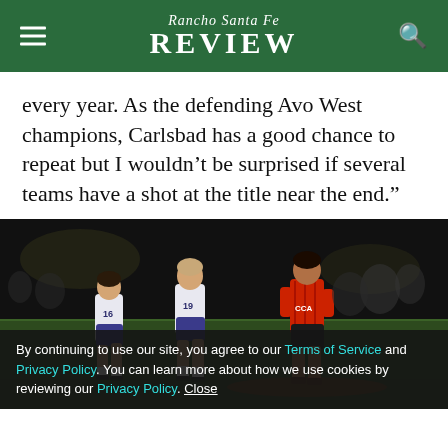Rancho Santa Fe REVIEW
every year. As the defending Avo West champions, Carlsbad has a good chance to repeat but I wouldn’t be surprised if several teams have a shot at the title near the end.”
[Figure (photo): Night soccer match photo showing three female players on a field — two in white/blue uniforms (numbers 16 and 19) and one in a red CCA uniform — running during a game.]
By continuing to use our site, you agree to our Terms of Service and Privacy Policy. You can learn more about how we use cookies by reviewing our Privacy Policy. Close